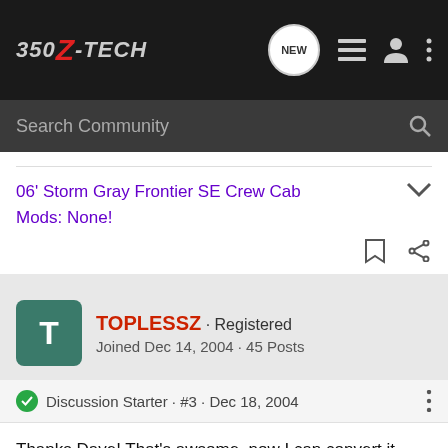350Z-TECH
Search Community
06' Storm Gray Frontier SE Crew Cab
Mods: None!
TOPLESSZ · Registered
Joined Dec 14, 2004 · 45 Posts
Discussion Starter · #3 · Dec 18, 2004
Thanks Dave! That's awsome, now I can convert it myself even with HID. Now on the performance side, do u know anyone with NOS system installed in the Z? Is it a good idea to have it since I plan to keep my automatic ZR for a long time.....